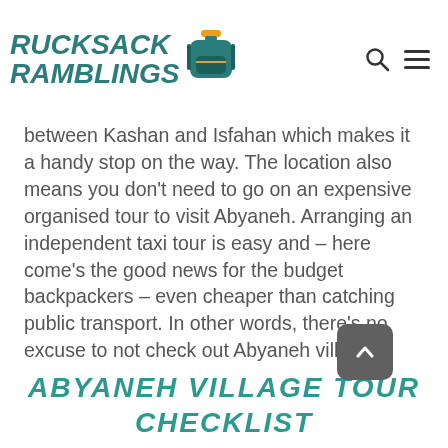Rucksack Ramblings
between Kashan and Isfahan which makes it a handy stop on the way. The location also means you don't need to go on an expensive organised tour to visit Abyaneh. Arranging an independent taxi tour is easy and – here come's the good news for the budget backpackers – even cheaper than catching public transport. In other words, there's no excuse to not check out Abyaneh village!
ABYANEH VILLAGE TOUR CHECKLIST